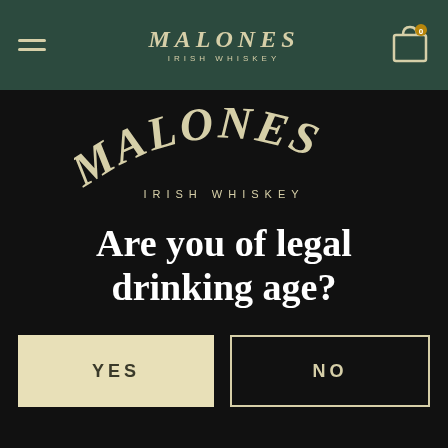MALONES IRISH WHISKEY — navigation bar with hamburger menu and cart icon
[Figure (logo): Malone's Irish Whiskey arched logo text in cream/tan color on dark green navigation bar background]
[Figure (logo): Large Malone's Irish Whiskey arched logo text in cream/tan color on black background]
Are you of legal drinking age?
YES
NO